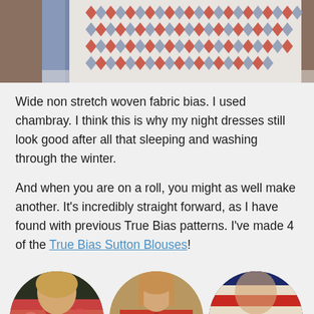[Figure (photo): Close-up photo of fabric with a leaf/arrow print pattern in red and grey/blue on a white background, with a blue chambray bias binding visible at the edge. Fabric is draped.]
Wide non stretch woven fabric bias. I used chambray. I think this is why my night dresses still look good after all that sleeping and washing through the winter.
And when you are on a roll, you might as well make another. It's incredibly straight forward, as I have found with previous True Bias patterns. I've made 4 of the True Bias Sutton Blouses!
[Figure (photo): Three circular cropped photos of women wearing blouses. Left: woman with blonde hair wearing a red floral print blouse with a teal bag. Middle: woman in a red short-sleeve V-neck blouse. Right: partial view of a woman wearing a striped blue, red and white blouse.]